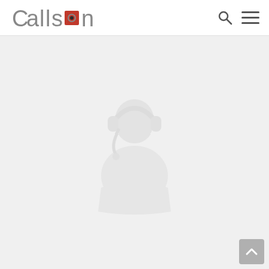[Figure (logo): Callson logo with gray text and red square containing a dark circle replacing the letter 'o', with search and hamburger menu icons on the right]
[Figure (illustration): Faint watermark-style illustration of a person with a headset, rendered in light gray on a light gray background]
[Figure (other): Gray scroll-to-top button with upward arrow in bottom-right corner]